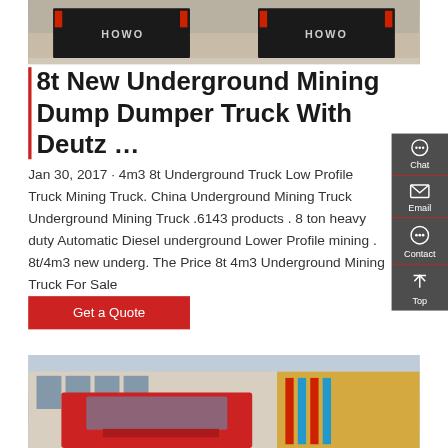[Figure (photo): Rear view of two HOWO dump trucks with red tail lights, parked on a concrete surface]
8t New Underground Mining Dump Dumper Truck With Deutz …
Jan 30, 2017 · 4m3 8t Underground Truck Low Profile Truck Mining Truck. China Underground Mining Truck Underground Mining Truck .6143 products . 8 ton heavy duty Automatic Diesel underground Lower Profile mining . 8t/4m3 new underg. The Price 8t 4m3 Underground Mining Truck For Sale
[Figure (other): Sidebar widget panel with Chat, Email, Contact, and Top icons on dark grey background]
Get a Quote
[Figure (photo): Front view of a red truck cab parked in front of a commercial building]